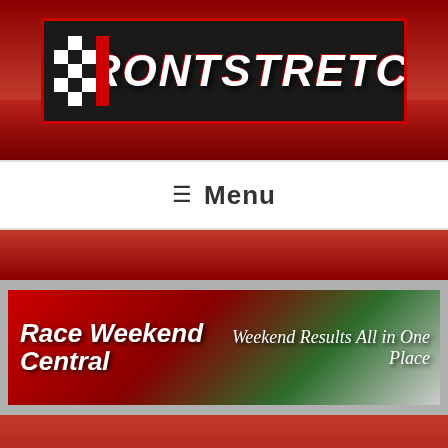[Figure (logo): Frontstretch website logo — black background banner with red checkered flag icon on left and 'FRONTSTRETCH' in large white italic bold Impact font, set against a dark red racing crowd background]
≡ Menu
[Figure (illustration): Race Weekend Central banner — 'Race Weekend Central' in large white italic Impact font on red/dark background left side, 'Weekend Results All in One Place' in white italic serif font on right, with blurred racing wheel imagery]
[Figure (screenshot): Bottom portion of article page barely visible with partial large bold article title text]
[Figure (infographic): Advertisement overlay: 'Up to 30% off Ballard Designs' — Furniture stores and home decor. It's Ballard! ballarddesigns.com — with product image on left, close button, and blue forward arrow button]